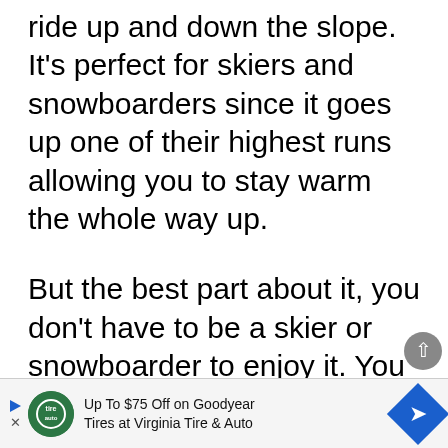ride up and down the slope. It's perfect for skiers and snowboarders since it goes up one of their highest runs allowing you to stay warm the whole way up.
But the best part about it, you don't have to be a skier or snowboarder to enjoy it. You can pay the ticket price and ride it all the way up to have some of the best views in the area. Plus, on top there is a delicious
[Figure (other): Advertisement banner: Up To $75 Off on Goodyear Tires at Virginia Tire & Auto, with logo and blue arrow diamond.]